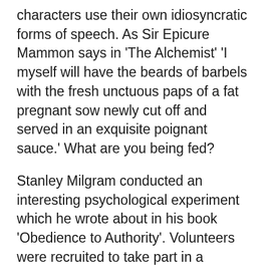characters use their own idiosyncratic forms of speech. As Sir Epicure Mammon says in 'The Alchemist' 'I myself will have the beards of barbels with the fresh unctuous paps of a fat pregnant sow newly cut off and served in an exquisite poignant sauce.' What are you being fed?
Stanley Milgram conducted an interesting psychological experiment which he wrote about in his book 'Obedience to Authority'. Volunteers were recruited to take part in a memory test. They were told by a guy in a white coat that they needed to ask questions to unseen anonymous people behind a screen. If they got the answers wrong the volunteers had to administer an electric shock. Most of